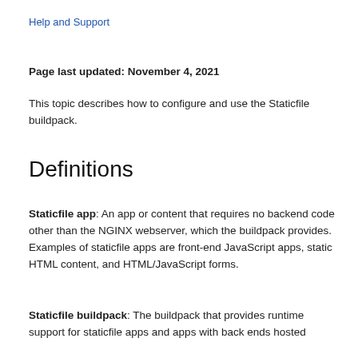Help and Support
Page last updated: November 4, 2021
This topic describes how to configure and use the Staticfile buildpack.
Definitions
Staticfile app: An app or content that requires no backend code other than the NGINX webserver, which the buildpack provides. Examples of staticfile apps are front-end JavaScript apps, static HTML content, and HTML/JavaScript forms.
Staticfile buildpack: The buildpack that provides runtime support for staticfile apps and apps with back ends hosted elsewhere. The Staticfile buildpack uses NGINX to...